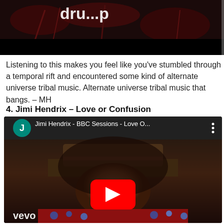[Figure (screenshot): Top portion of a dark video thumbnail partially visible, with text partially cut off at top]
Listening to this makes you feel like you've stumbled through a temporal rift and encountered some kind of alternate universe tribal music. Alternate universe tribal music that bangs. – MH
4. Jimi Hendrix – Love or Confusion
[Figure (screenshot): YouTube video embed showing Jimi Hendrix - BBC Sessions - Love O... with a teal J avatar icon and three-dot menu. Thumbnail shows Jimi Hendrix wearing a wide-brim hat and colorful shirt, with a red YouTube play button in the center and vevo logo in the bottom left.]